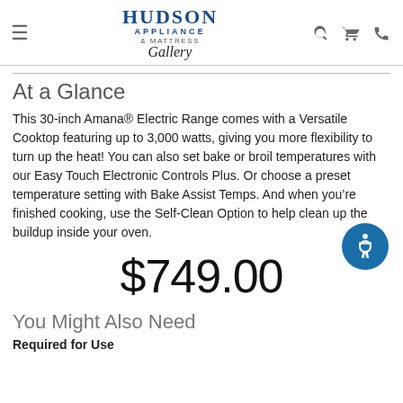Hudson Appliance & Mattress Gallery
At a Glance
This 30-inch Amana® Electric Range comes with a Versatile Cooktop featuring up to 3,000 watts, giving you more flexibility to turn up the heat! You can also set bake or broil temperatures with our Easy Touch Electronic Controls Plus. Or choose a preset temperature setting with Bake Assist Temps. And when you're finished cooking, use the Self-Clean Option to help clean up the buildup inside your oven.
$749.00
You Might Also Need
Required for Use